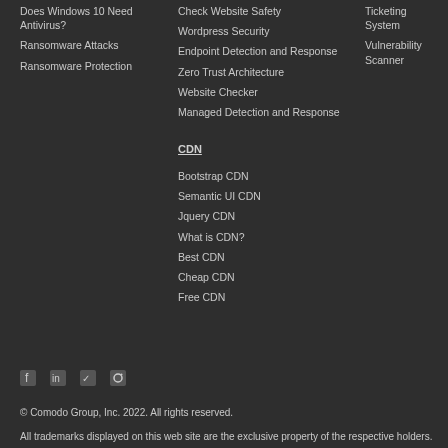Does Windows 10 Need Antivirus?
Ransomware Attacks
Ransomware Protection
Check Website Safety
Wordpress Security
Endpoint Detection and Response
Zero Trust Architecture
Website Checker
Managed Detection and Response
Ticketing System
Vulnerability Scanner
CDN
Bootstrap CDN
Semantic UI CDN
Jquery CDN
What is CDN?
Best CDN
Cheap CDN
Free CDN
© Comodo Group, Inc. 2022. All rights reserved.
All trademarks displayed on this web site are the exclusive property of the respective holders.